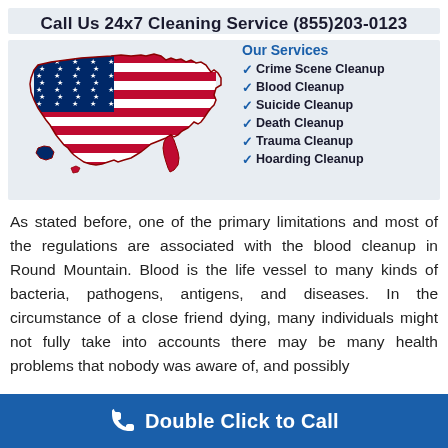Call Us 24x7 Cleaning Service (855)203-0123
[Figure (illustration): USA map styled as American flag with red and white stripes and blue star field on the left side]
Our Services
Crime Scene Cleanup
Blood Cleanup
Suicide Cleanup
Death Cleanup
Trauma Cleanup
Hoarding Cleanup
As stated before, one of the primary limitations and most of the regulations are associated with the blood cleanup in Round Mountain. Blood is the life vessel to many kinds of bacteria, pathogens, antigens, and diseases. In the circumstance of a close friend dying, many individuals might not fully take into accounts there may be many health problems that nobody was aware of, and possibly
Double Click to Call